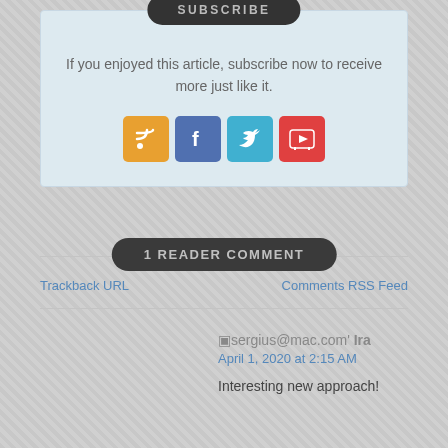SUBSCRIBE
If you enjoyed this article, subscribe now to receive more just like it.
[Figure (infographic): Four social media icon buttons: RSS (orange), Facebook (blue), Twitter (cyan), YouTube (red)]
1 READER COMMENT
Trackback URL
Comments RSS Feed
sergius@mac.com' Ira
April 1, 2020 at 2:15 AM
Interesting new approach!